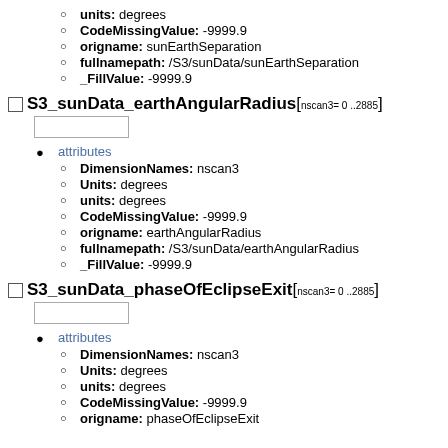units: degrees
CodeMissingValue: -9999.9
origname: sunEarthSeparation
fullnamepath: /S3/sunData/sunEarthSeparation
_FillValue: -9999.9
S3_sunData_earthAngularRadius[ nscan3= 0 ..2885]
attributes
DimensionNames: nscan3
Units: degrees
units: degrees
CodeMissingValue: -9999.9
origname: earthAngularRadius
fullnamepath: /S3/sunData/earthAngularRadius
_FillValue: -9999.9
S3_sunData_phaseOfEclipseExit[ nscan3= 0 ..2885]
attributes
DimensionNames: nscan3
Units: degrees
units: degrees
CodeMissingValue: -9999.9
origname: phaseOfEclipseExit